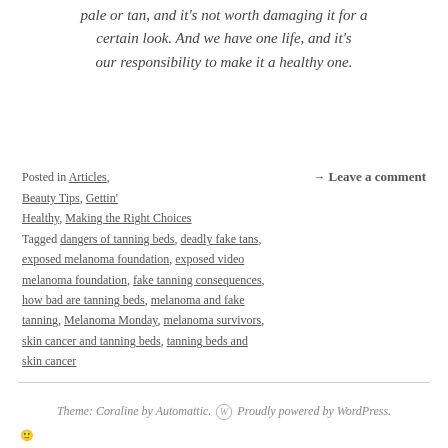pale or tan, and it's not worth damaging it for a certain look. And we have one life, and it's our responsibility to make it a healthy one.
Posted in Articles, Beauty Tips, Gettin' Healthy, Making the Right Choices Tagged dangers of tanning beds, deadly fake tans, exposed melanoma foundation, exposed video melanoma foundation, fake tanning consequences, how bad are tanning beds, melanoma and fake tanning, Melanoma Monday, melanoma survivors, skin cancer and tanning beds, tanning beds and skin cancer → Leave a comment
Theme: Coraline by Automattic. Proudly powered by WordPress.